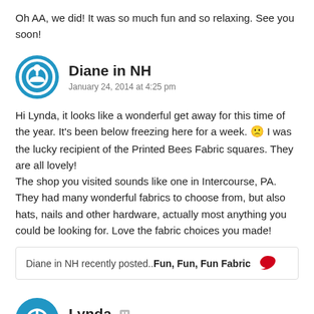Oh AA, we did! It was so much fun and so relaxing. See you soon!
Diane in NH
January 24, 2014 at 4:25 pm
Hi Lynda, it looks like a wonderful get away for this time of the year. It's been below freezing here for a week. 🙁 I was the lucky recipient of the Printed Bees Fabric squares. They are all lovely!
The shop you visited sounds like one in Intercourse, PA. They had many wonderful fabrics to choose from, but also hats, nails and other hardware, actually most anything you could be looking for. Love the fabric choices you made!
Diane in NH recently posted..Fun, Fun, Fun Fabric
Lynda
January 24, 2014 at 4:32 pm